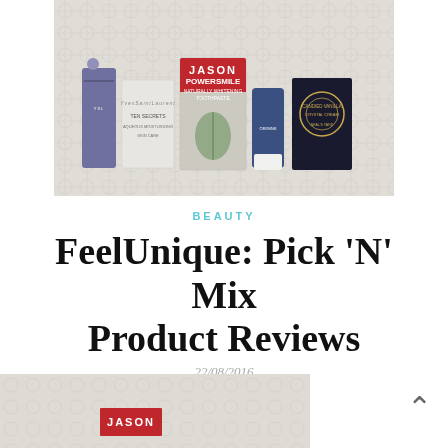[Figure (photo): Photo of beauty product samples on a white quilted fabric background: YSL bottle, YSL sachet, Jason Powersmile sachet, Origins tube, and Neal's Yard sachet]
BEAUTY
FeelUnique: Pick ‘N’ Mix Product Reviews
22/08/2016
[Figure (photo): Partial photo of beauty products on quilted fabric, showing Jason red label at bottom]